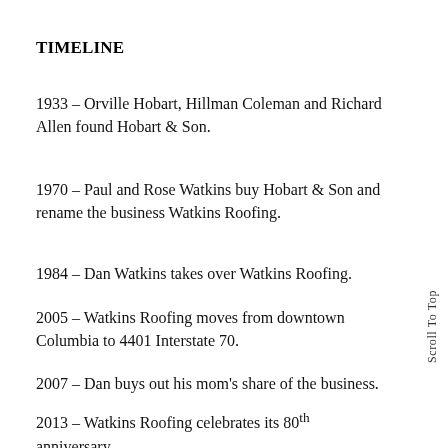TIMELINE
1933 – Orville Hobart, Hillman Coleman and Richard Allen found Hobart & Son.
1970 – Paul and Rose Watkins buy Hobart & Son and rename the business Watkins Roofing.
1984 – Dan Watkins takes over Watkins Roofing.
2005 – Watkins Roofing moves from downtown Columbia to 4401 Interstate 70.
2007 – Dan buys out his mom's share of the business.
2013 – Watkins Roofing celebrates its 80th anniversary